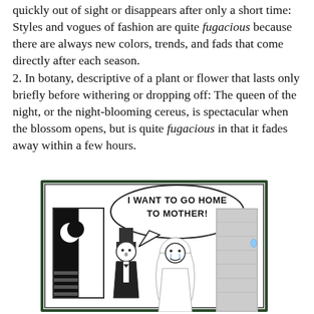quickly out of sight or disappears after only a short time: Styles and vogues of fashion are quite fugacious because there are always new colors, trends, and fads that come directly after each season.
2. In botany, descriptive of a plant or flower that lasts only briefly before withering or dropping off: The queen of the night, or the night-blooming cereus, is spectacular when the blossom opens, but is quite fugacious in that it fades away within a few hours.
[Figure (illustration): A cartoon illustration showing a bride in a wedding veil crying and saying 'I WANT TO GO HOME TO MOTHER!' in a speech bubble, standing next to a groom in a top hat, with an open door showing a night scene with a crescent moon.]